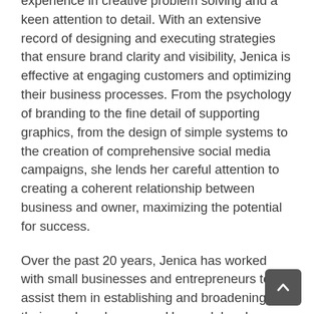experience in creative problem solving and a keen attention to detail. With an extensive record of designing and executing strategies that ensure brand clarity and visibility, Jenica is effective at engaging customers and optimizing their business processes. From the psychology of branding to the fine detail of supporting graphics, from the design of simple systems to the creation of comprehensive social media campaigns, she lends her careful attention to creating a coherent relationship between business and owner, maximizing the potential for success.
Over the past 20 years, Jenica has worked with small businesses and entrepreneurs to assist them in establishing and broadening their reach and success. Her work has been featured at Capital Hill, in the Federal Department of Education; in both the Los Angeles and San Diego Unified School Districts; and at the campus of the University of California, Los Angeles.
ABOUT WBC:
The San Diego & Imperial WBC is a partner of the US Small Business Administration (SBA) and is hosted by Southwestern College at the Center for Business